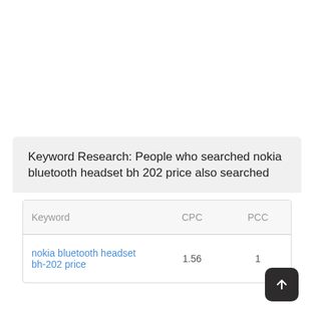Keyword Research: People who searched nokia bluetooth headset bh 202 price also searched
| Keyword | CPC | PCC |
| --- | --- | --- |
| nokia bluetooth headset bh-202 price | 1.56 | 1 |